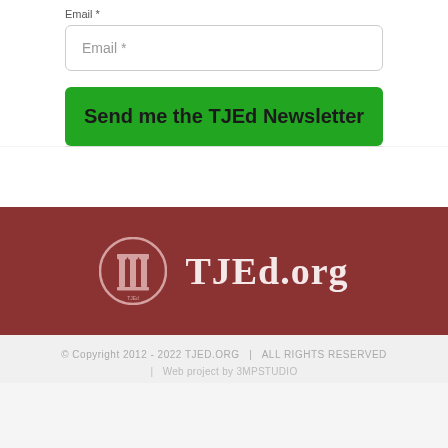Email *
Email *
Send me the TJEd Newsletter
[Figure (logo): TJEd.org logo with circular column icon and text on dark red background]
© Copyright 2012 - 2022 TJED.ORG  |  ALL RIGHTS RESERVED
|  Web project by 3MPSTUDIO